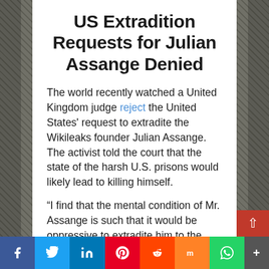US Extradition Requests for Julian Assange Denied
The world recently watched a United Kingdom judge reject the United States' request to extradite the Wikileaks founder Julian Assange. The activist told the court that the state of the harsh U.S. prisons would likely lead to killing himself.
“I find that the mental condition of Mr. Assange is such that it would be oppressive to extradite him to the United States of America,” the judge said after rejecting the U.S. request. Assange was